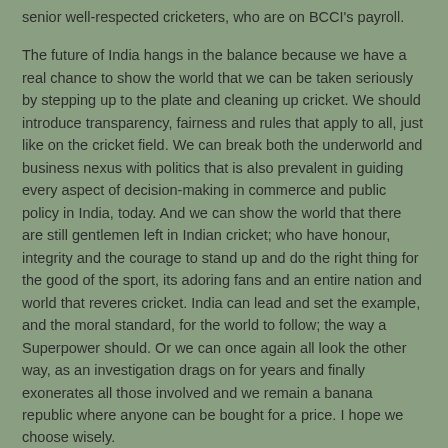senior well-respected cricketers, who are on BCCI's payroll.
The future of India hangs in the balance because we have a real chance to show the world that we can be taken seriously by stepping up to the plate and cleaning up cricket. We should introduce transparency, fairness and rules that apply to all, just like on the cricket field. We can break both the underworld and business nexus with politics that is also prevalent in guiding every aspect of decision-making in commerce and public policy in India, today. And we can show the world that there are still gentlemen left in Indian cricket; who have honour, integrity and the courage to stand up and do the right thing for the good of the sport, its adoring fans and an entire nation and world that reveres cricket. India can lead and set the example, and the moral standard, for the world to follow; the way a Superpower should. Or we can once again all look the other way, as an investigation drags on for years and finally exonerates all those involved and we remain a banana republic where anyone can be bought for a price. I hope we choose wisely.
UPDATE: Read my Open Letter to PepsiCo CEO, Indra Nooyi
JOIN THE CAMPAIGN TO BOYCOTT PEPSI IPL 2014!